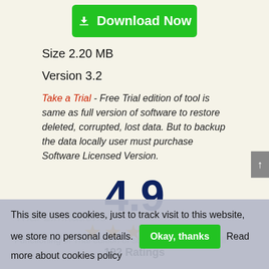[Figure (other): Green Download Now button with download icon]
Size 2.20 MB
Version 3.2
Take a Trial - Free Trial edition of tool is same as full version of software to restore deleted, corrupted, lost data. But to backup the data locally user must purchase Software Licensed Version.
[Figure (infographic): Rating display showing 4.9 with 5 gold stars and 192 Ratings]
Trial Limitations
Functioning of Trial edition of software is same as full
This site uses cookies, just to track visit to this website, we store no personal details. Okay, thanks Read more about cookies policy